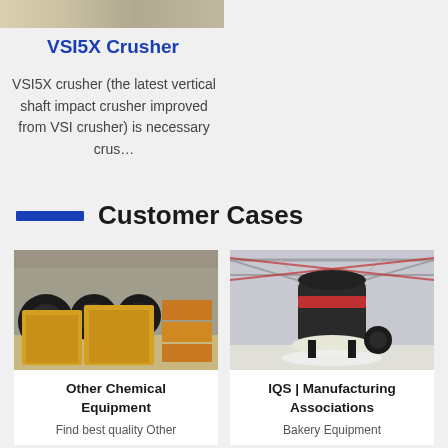[Figure (photo): Top portion of industrial machine/conveyor equipment, partially cropped]
VSI5X Crusher
VSI5X crusher (the latest vertical shaft impact crusher improved from VSI crusher) is necessary crus…
Customer Cases
[Figure (photo): Yellow jaw crushers and industrial equipment in a warehouse]
Other Chemical Equipment
Find best quality Other
[Figure (photo): Large cone crusher machine inside a factory building with steel truss roof]
IQS | Manufacturing Associations
Bakery Equipment